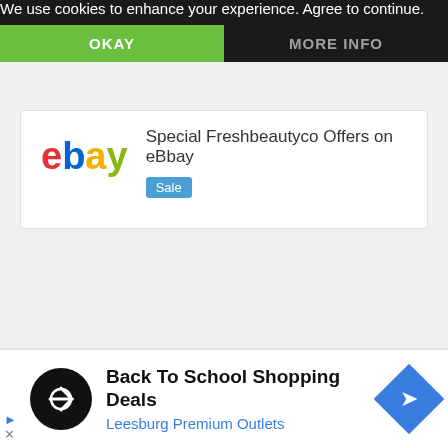We use cookies to enhance your experience. Agree to continue.
OKAY
MORE INFO
Special Freshbeautyco Offers on eBbay
Sale
Voucher Alert + Free Giveaway
send you updates about the latest voucher codes,
Back To School Shopping Deals
Leesburg Premium Outlets